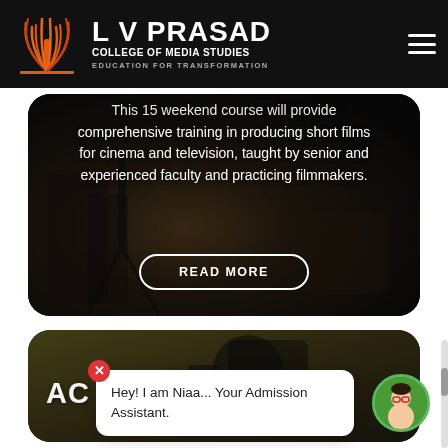L V PRASAD COLLEGE OF MEDIA STUDIES — EDUCATION FOR TRANSFORMATION
This 15 weekend course will provide comprehensive training in producing short films for cinema and television, taught by senior and experienced faculty and practicing filmmakers.
READ MORE
AC
In general this course is specially designed for
Hey! I am Niaa... Your Admission Assistant.